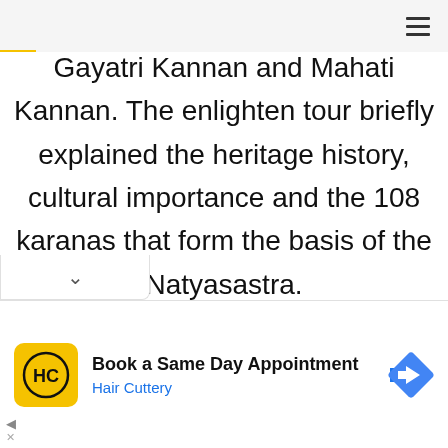Gayatri Kannan and Mahati Kannan. The enlighten tour briefly explained the heritage history, cultural importance and the 108 karanas that form the basis of the Natyasastra.
[Figure (other): Advertisement banner for Hair Cuttery: yellow square logo with HC monogram, text 'Book a Same Day Appointment', 'Hair Cuttery', and a blue navigation arrow icon on the right.]